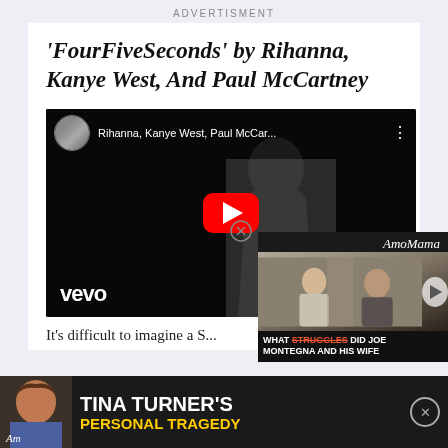ADVERTISMENT
'FourFiveSeconds' by Rihanna, Kanye West, And Paul McCartney
[Figure (screenshot): YouTube video embed showing Rihanna, Kanye West, Paul McCartney FourFiveSeconds music video on Vevo, with play button overlay]
It's difficult to imagine a G...
[Figure (screenshot): AmoMama overlay ad: What Struggles did Joe Montegna and his wife with video thumbnail]
[Figure (screenshot): Bottom banner ad: Tina Turner's Personal Tragedy]